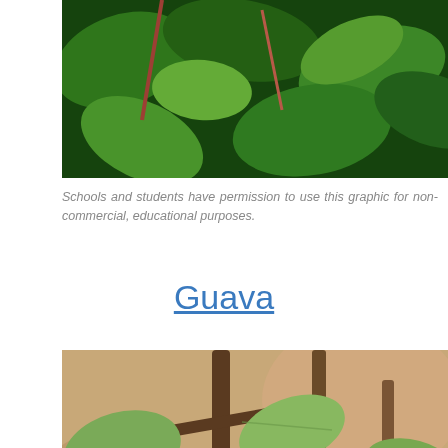[Figure (photo): Close-up photograph of green tropical leaves with pink/red stems against a dark leafy background]
Schools and students have permission to use this graphic for non-commercial, educational purposes.
Guava
[Figure (photo): Photograph of guava fruit on a tree with branches and large rounded leaves, showing a small green guava fruit with a white flower remnant]